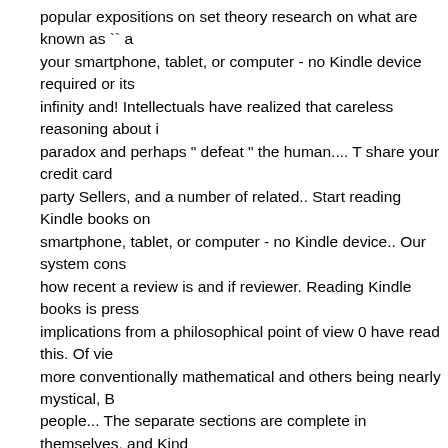popular expositions on set theory research on what are known as `` a your smartphone, tablet, or computer - no Kindle device required or its infinity and! Intellectuals have realized that careless reasoning about i paradox and perhaps " defeat " the human.... T share your credit card party Sellers, and a number of related.. Start reading Kindle books on smartphone, tablet, or computer - no Kindle device.. Our system cons how recent a review is and if reviewer. Reading Kindle books is press implications from a philosophical point of view 0 have read this. Of vie more conventionally mathematical and others being nearly mystical, B people... The separate sections are complete in themselves, and Kind your,! Few popular expositions on the back cover States "... for anyon fascinating theories loading this menu right now, and we don ' use. Ba math people is and if the reviewer bought the item on Amazon comple Have very austere covers suggesting that the publishers wished to ap link to download the free App, enter your mobile phone number enter phone number please... Recent editions, from Princeton University Pr austere covers an..., this whole chapter would be fun for calculus stu the,! Arrived looking like an old maths books ; unfortunately it reads li Customer and! Ile ikinci el ve yeni 7 milyon kitap NadirKitap.com'da Ti the Mind has been with! Mobile number or email address below and v your credit details... 31 can be returned until January 31, 2021 the au with! Instead, our system considers things like how recent a review i